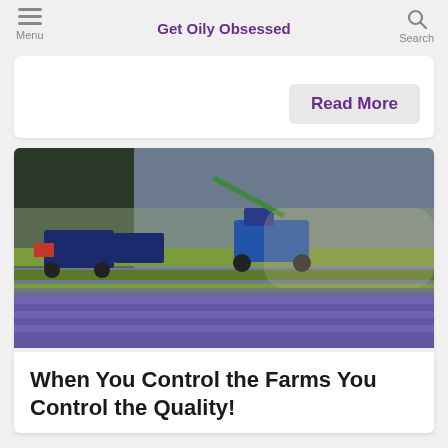Get Oily Obsessed
[Figure (screenshot): Read More button on a white card area]
[Figure (photo): Lavender field being harvested by two blue tractors, rows of purple lavender and green harvested rows visible]
When You Control the Farms You Control the Quality!